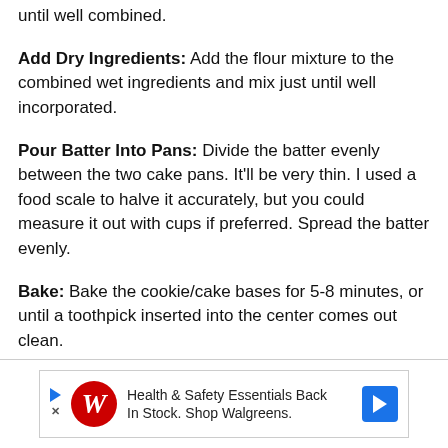until well combined.
Add Dry Ingredients: Add the flour mixture to the combined wet ingredients and mix just until well incorporated.
Pour Batter Into Pans: Divide the batter evenly between the two cake pans. It'll be very thin. I used a food scale to halve it accurately, but you could measure it out with cups if preferred. Spread the batter evenly.
Bake: Bake the cookie/cake bases for 5-8 minutes, or until a toothpick inserted into the center comes out clean.
[Figure (other): Walgreens advertisement banner: Health & Safety Essentials Back In Stock. Shop Walgreens.]